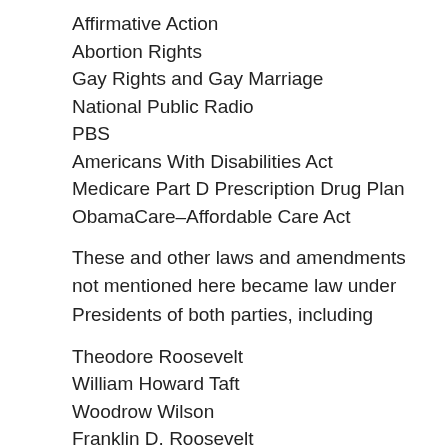Affirmative Action
Abortion Rights
Gay Rights and Gay Marriage
National Public Radio
PBS
Americans With Disabilities Act
Medicare Part D Prescription Drug Plan
ObamaCare–Affordable Care Act
These and other laws and amendments not mentioned here became law under Presidents of both parties, including
Theodore Roosevelt
William Howard Taft
Woodrow Wilson
Franklin D. Roosevelt
Harry Truman